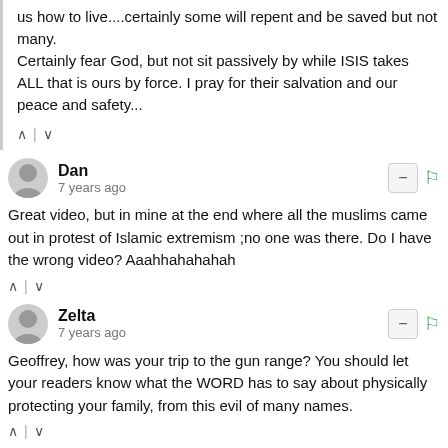us how to live....certainly some will repent and be saved but not many.
Certainly fear God, but not sit passively by while ISIS takes ALL that is ours by force. I pray for their salvation and our peace and safety...
Dan
7 years ago
Great video, but in mine at the end where all the muslims came out in protest of Islamic extremism ;no one was there. Do I have the wrong video? Aaahhahahahah
Zelta
7 years ago
Geoffrey, how was your trip to the gun range? You should let your readers know what the WORD has to say about physically protecting your family, from this evil of many names.